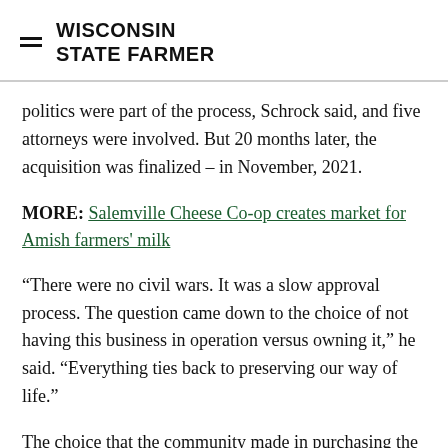WISCONSIN STATE FARMER
politics were part of the process, Schrock said, and five attorneys were involved. But 20 months later, the acquisition was finalized – in November, 2021.
MORE: Salemville Cheese Co-op creates market for Amish farmers' milk
“There were no civil wars. It was a slow approval process. The question came down to the choice of not having this business in operation versus owning it,” he said. “Everything ties back to preserving our way of life.”
The choice that the community made in purchasing the creamery, he said, is about their